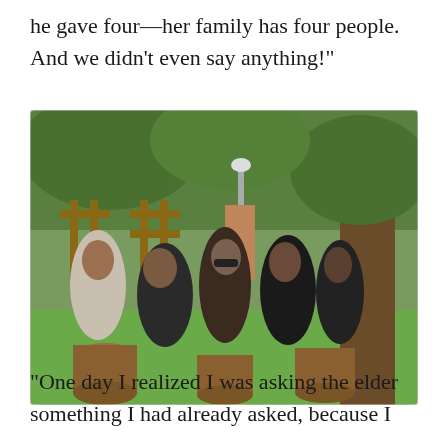he gave four—her family has four people. And we didn’t even say anything!”
[Figure (photo): Several people dressed in dark clothing sitting on tree stumps in a park or garden setting, gathered in a circle under a large tree, appearing to be in conversation.]
“One day I realized I was asking the elder something I had already asked, because I